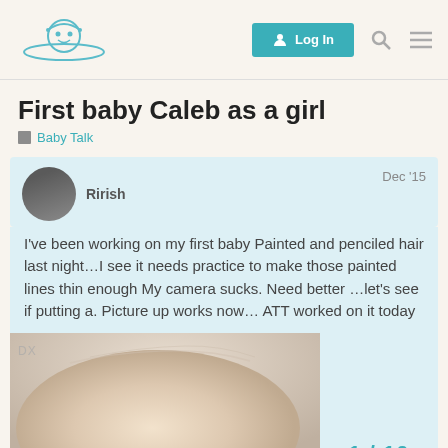Baby forum header with logo and Log In button
First baby Caleb as a girl
Baby Talk
Rirish   Dec '15
I've been working on my first baby Painted and penciled hair last night…I see it needs practice to make those painted lines thin enough My camera sucks. Need better …let's see if putting a. Picture up works now… ATT worked on it today
[Figure (photo): Close-up photo of a baby doll head showing painted/penciled hair, top view]
1 / 10